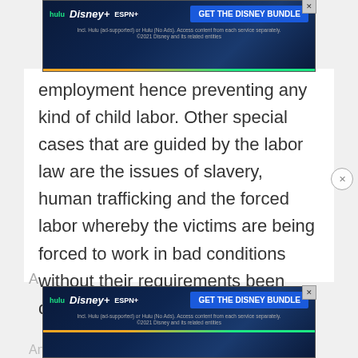[Figure (screenshot): Hulu / Disney+ / ESPN+ advertisement banner at top of page saying GET THE DISNEY BUNDLE]
employment hence preventing any kind of child labor. Other special cases that are guided by the labor law are the issues of slavery, human trafficking and the forced labor whereby the victims are being forced to work in bad conditions without their requirements been observed by the employers.
[Figure (screenshot): Hulu / Disney+ / ESPN+ advertisement banner at bottom of page saying GET THE DISNEY BUNDLE]